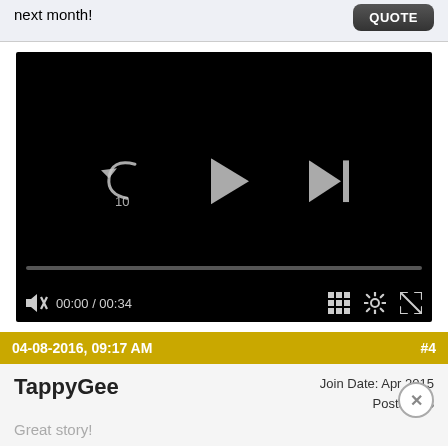next month!
[Figure (screenshot): Video player with black background showing replay (10s), play, and skip-next controls centered. Progress bar at bottom showing 00:00 / 00:34. Muted speaker icon, grid, settings, and fullscreen icons in bottom bar.]
04-08-2016, 09:17 AM  #4
TappyGee   Join Date: Apr 2015  Posts: 118
Great story!